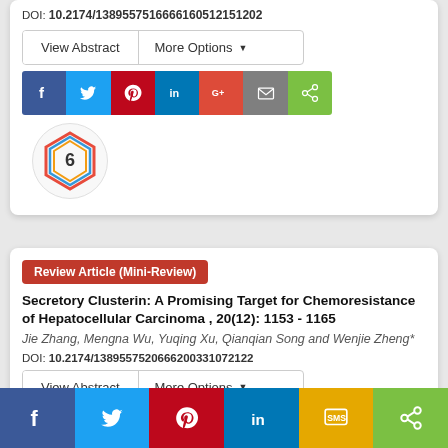DOI: 10.2174/1389557516666160512151202
[Figure (screenshot): View Abstract and More Options buttons row]
[Figure (infographic): Social share bar with Facebook, Twitter, Pinterest, LinkedIn, Google+, Email, ShareThis icons]
[Figure (other): Altmetric badge showing score 6 with colorful pentagon shape]
Review Article (Mini-Review)
Secretory Clusterin: A Promising Target for Chemoresistance of Hepatocellular Carcinoma , 20(12): 1153 - 1165
Jie Zhang, Mengna Wu, Yuqing Xu, Qianqian Song and Wenjie Zheng*
DOI: 10.2174/1389557520666200331072122
[Figure (screenshot): View Abstract and More Options buttons row]
[Figure (infographic): Partial social share bar with Facebook, Twitter, Pinterest, LinkedIn, Google+, Email, ShareThis icons]
[Figure (infographic): Sticky bottom share bar with Facebook, Twitter, Pinterest, LinkedIn, SMS, ShareThis]